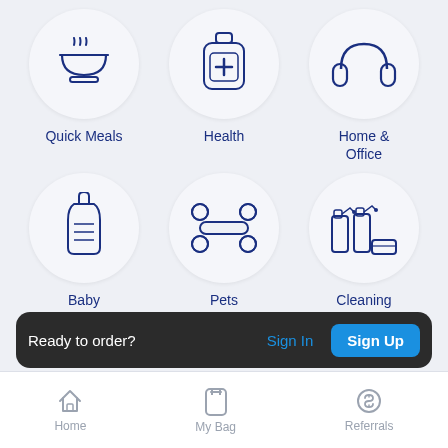[Figure (screenshot): App category grid with 6 icons: Quick Meals (bowl with steam), Health (medicine bottle), Home & Office (headphones), Baby (baby bottle), Pets (bone), Cleaning (spray bottles and sponge)]
Ready to order?
Sign In
Sign Up
Home
My Bag
Referrals